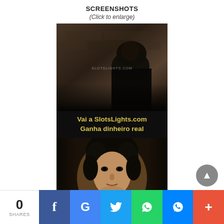SCREENSHOTS
(Click to enlarge)
[Figure (screenshot): Two-panel screenshot from a dark fantasy film/show, watermarked with SLOTSLIGHTS.COM. Top panel shows a dark-cloaked figure against a stone wall. Middle overlay text reads 'Vai a SlotsLights.com / Ganha dinheiro real' in yellow. Bottom panel shows a young person with curly dark hair looking directly at the camera.]
0 SHARES | Facebook | Google+ | Twitter | WhatsApp | Messenger | More